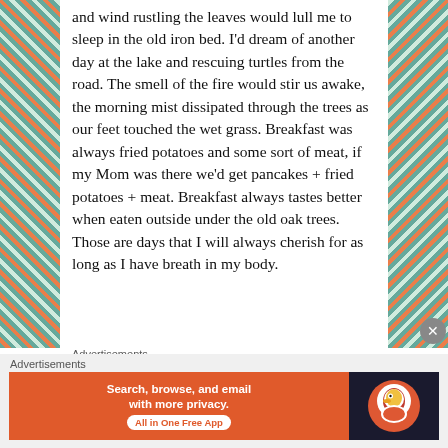and wind rustling the leaves would lull me to sleep in the old iron bed. I'd dream of another day at the lake and rescuing turtles from the road. The smell of the fire would stir us awake, the morning mist dissipated through the trees as our feet touched the wet grass. Breakfast was always fried potatoes and some sort of meat, if my Mom was there we'd get pancakes + fried potatoes + meat. Breakfast always tastes better when eaten outside under the old oak trees. Those are days that I will always cherish for as long as I have breath in my body.
Advertisements
[Figure (screenshot): Dark advertisement box with teal text reading 'Turn your blog into a money-making online course']
Advertisements
[Figure (screenshot): DuckDuckGo advertisement: orange section with text 'Search, browse, and email with more privacy. All in One Free App' and dark section with DuckDuckGo logo]